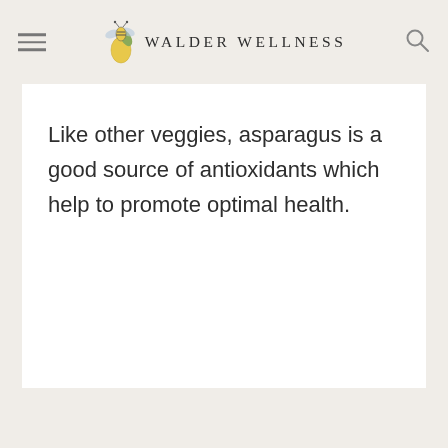WALDER WELLNESS
Like other veggies, asparagus is a good source of antioxidants which help to promote optimal health.